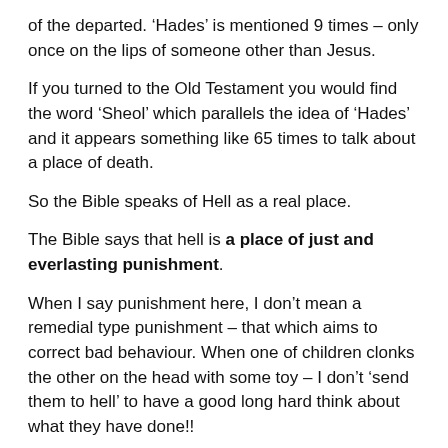of the departed. 'Hades' is mentioned 9 times – only once on the lips of someone other than Jesus.
If you turned to the Old Testament you would find the word 'Sheol' which parallels the idea of 'Hades' and it appears something like 65 times to talk about a place of death.
So the Bible speaks of Hell as a real place.
The Bible says that hell is a place of just and everlasting punishment.
When I say punishment here, I don't mean a remedial type punishment – that which aims to correct bad behaviour. When one of children clonks the other on the head with some toy – I don't 'send them to hell' to have a good long hard think about what they have done!!